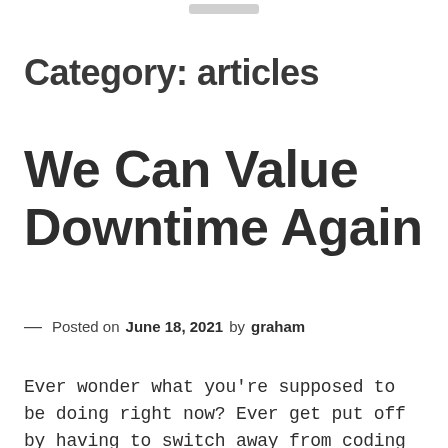Category: articles
We Can Value Downtime Again
— Posted on June 18, 2021 by graham
Ever wonder what you're supposed to be doing right now? Ever get put off by having to switch away from coding or writing in order to have a meeting